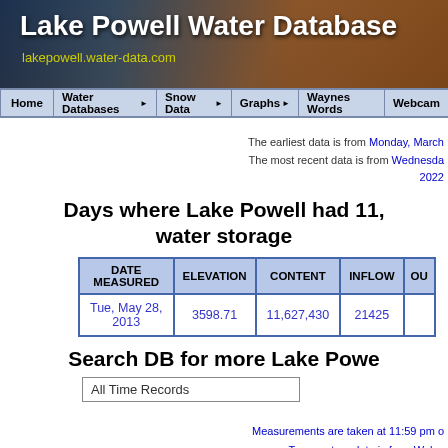Lake Powell Water Database
lakepowell.water-data.com
Home | Water Databases | Snow Data | Graphs | Waynes Words | Webcams
The earliest data is from Monday, March...
The most recent data is from Wednesday, 2022
Days where Lake Powell had 11,... water storage
| DATE MEASURED | ELEVATION | CONTENT | INFLOW | OU... |
| --- | --- | --- | --- | --- |
| Tue, May 28, 2013 | 3598.71 | 11,627,430 | 21425 |  |
Search DB for more Lake Powe...
All Time Records
Measurements are taken at 11:59 pm o...
Temperature data is from Wahw...
Water temperature data is from wayne...